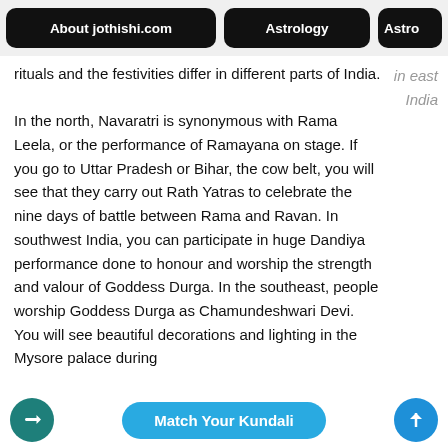About jothishi.com | Astrology | Astro
rituals and the festivities differ in different parts of India.
in east India
In the north, Navaratri is synonymous with Rama Leela, or the performance of Ramayana on stage. If you go to Uttar Pradesh or Bihar, the cow belt, you will see that they carry out Rath Yatras to celebrate the nine days of battle between Rama and Ravan. In southwest India, you can participate in huge Dandiya performance done to honour and worship the strength and valour of Goddess Durga. In the southeast, people worship Goddess Durga as Chamundeshwari Devi. You will see beautiful decorations and lighting in the Mysore palace during
Match Your Kundali